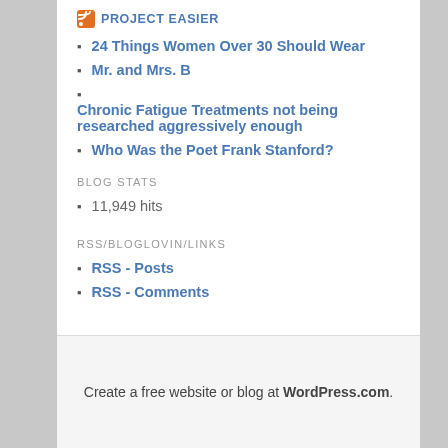PROJECT EASIER
24 Things Women Over 30 Should Wear
Mr. and Mrs. B
Chronic Fatigue Treatments not being researched aggressively enough
Who Was the Poet Frank Stanford?
BLOG STATS
11,949 hits
RSS/BLOGLOVIN/LINKS
RSS - Posts
RSS - Comments
Create a free website or blog at WordPress.com.